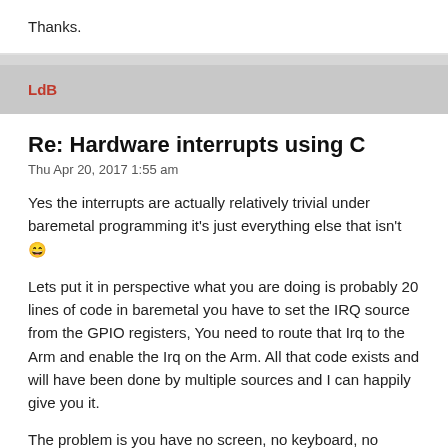Thanks.
LdB
Re: Hardware interrupts using C
Thu Apr 20, 2017 1:55 am
Yes the interrupts are actually relatively trivial under baremetal programming it's just everything else that isn't 😀
Lets put it in perspective what you are doing is probably 20 lines of code in baremetal you have to set the IRQ source from the GPIO registers, You need to route that Irq to the Arm and enable the Irq on the Arm. All that code exists and will have been done by multiple sources and I can happily give you it.
The problem is you have no screen, no keyboard, no drives you